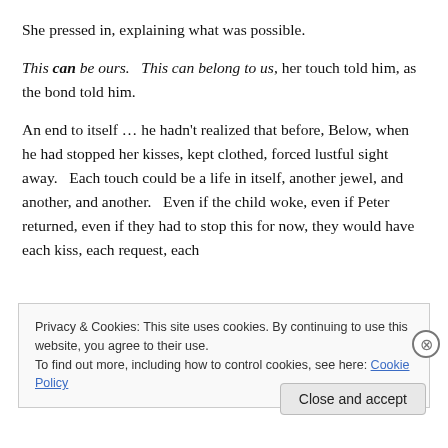She pressed in, explaining what was possible.
This can be ours.  This can belong to us, her touch told him, as the bond told him.
An end to itself … he hadn't realized that before, Below, when he had stopped her kisses, kept clothed, forced lustful sight away.   Each touch could be a life in itself, another jewel, and another, and another.   Even if the child woke, even if Peter returned, even if they had to stop this for now, they would have each kiss, each request, each
Privacy & Cookies: This site uses cookies. By continuing to use this website, you agree to their use.
To find out more, including how to control cookies, see here: Cookie Policy
Close and accept